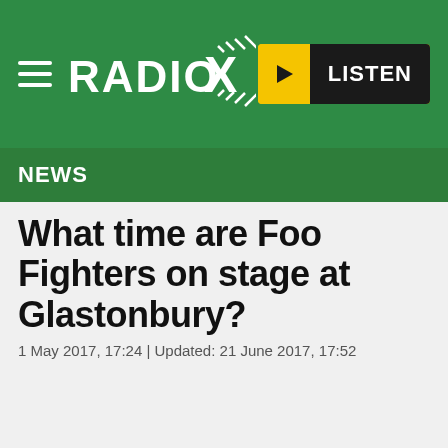[Figure (logo): Radio X website header with green background, hamburger menu icon, Radio X logo, and yellow/black LISTEN button]
NEWS
What time are Foo Fighters on stage at Glastonbury?
1 May 2017, 17:24 | Updated: 21 June 2017, 17:52